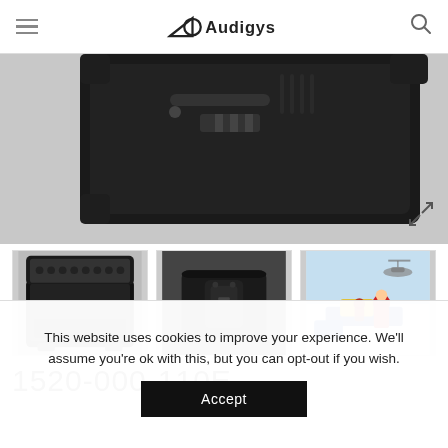Audigys – navigation header with hamburger menu and search icon
[Figure (photo): Close-up top view of a black Pelican-style rugged protective case showing latches and carry handle, angled perspective on grey background]
[Figure (photo): Open black Pelican-style protective case showing foam interior lining, empty, viewed from above at an angle]
[Figure (photo): Close-up of black rugged case latches and handle hardware, dark grey tones]
[Figure (photo): Person in red jacket loading yellow and blue equipment onto a sled in snowy arctic/polar conditions]
1520-000-110E
This website uses cookies to improve your experience. We'll assume you're ok with this, but you can opt-out if you wish.